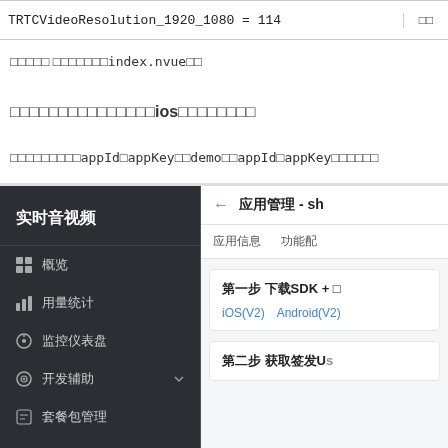| Code | Value |
| --- | --- |
| TRTCVideoResolution_1920_1080 = 114 | □□ |
□□□□□ □□□□□□□index.nvue□□
□□□□□□□□□□□□□□□ios□□□□□□□□
□□□□□□□□□appId□appKey□□demo□□appId□appKey□□□□□□
[Figure (screenshot): Screenshot of TRTC real-time audio/video management console. Left sidebar (dark background) shows: 实时音视频 (title), menu items: 概览, 用量统计, 监控仪表盘, 开发辅助, 套餐包管理. Right panel shows: back arrow with 应用管理 - sh, tabs for 应用信息 and 功能配, card with 第一步 下载SDK + links iOS(V2) Android(V2), second card with 第二步 获取签发Us]